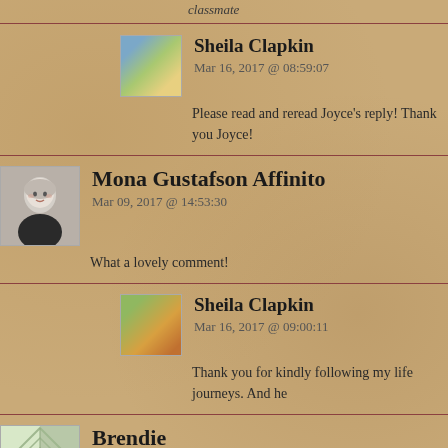classmate
Sheila Clapkin
Mar 16, 2017 @ 08:59:07
Please read and reread Joyce's reply! Thank you Joyce!
Mona Gustafson Affinito
Mar 09, 2017 @ 14:53:30
What a lovely comment!
Sheila Clapkin
Mar 16, 2017 @ 09:00:11
Thank you for kindly following my life journeys. And he
Brendie
Mar 09, 2017 @ 16:18:06
Wonderful to see you back on your blog and know the fu
inspirational message for all your family and loyal friends